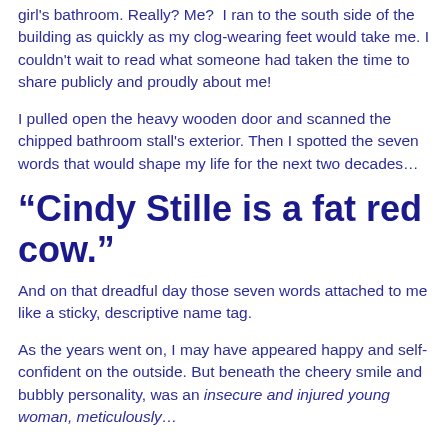girl's bathroom. Really? Me? I ran to the south side of the building as quickly as my clog-wearing feet would take me. I couldn't wait to read what someone had taken the time to share publicly and proudly about me!
I pulled open the heavy wooden door and scanned the chipped bathroom stall's exterior. Then I spotted the seven words that would shape my life for the next two decades…
“Cindy Stille is a fat red cow.”
And on that dreadful day those seven words attached to me like a sticky, descriptive name tag.
As the years went on, I may have appeared happy and self-confident on the outside. But beneath the cheery smile and bubbly personality, was an insecure and injured young woman, meticulously…